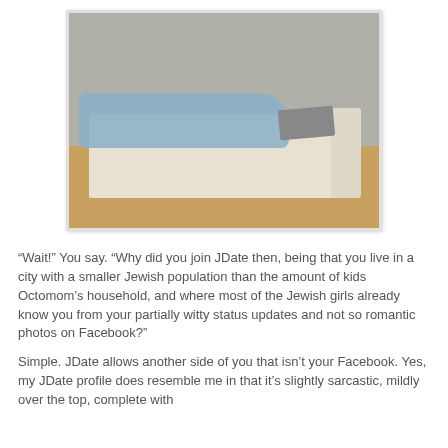[Figure (photo): A young man lying on a cream sofa, using a laptop computer. He is wearing jeans and a light blue shirt. The room has a wooden floor and gray wall in the background.]
“Wait!” You say. “Why did you join JDate then, being that you live in a city with a smaller Jewish population than the amount of kids Octomom’s household, and where most of the Jewish girls already know you from your partially witty status updates and not so romantic photos on Facebook?”
Simple. JDate allows another side of you that isn’t your Facebook. Yes, my JDate profile does resemble me in that it’s slightly sarcastic, mildly over the top, complete with